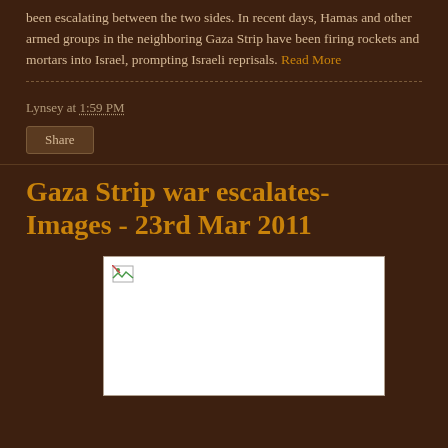been escalating between the two sides. In recent days, Hamas and other armed groups in the neighboring Gaza Strip have been firing rockets and mortars into Israel, prompting Israeli reprisals. Read More
Lynsey at 1:59 PM
Share
Gaza Strip war escalates- Images - 23rd Mar 2011
[Figure (photo): Broken/missing image placeholder with white background and broken image icon in top-left corner]